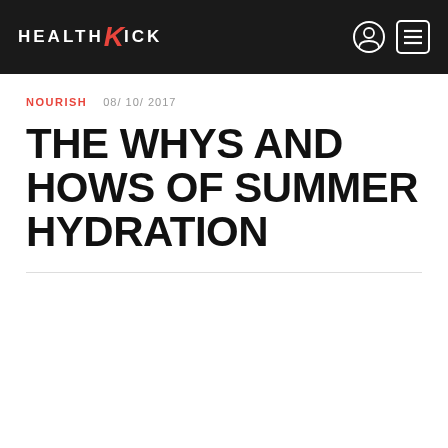HEALTHKICK
NOURISH   08/ 10/ 2017
THE WHYS AND HOWS OF SUMMER HYDRATION